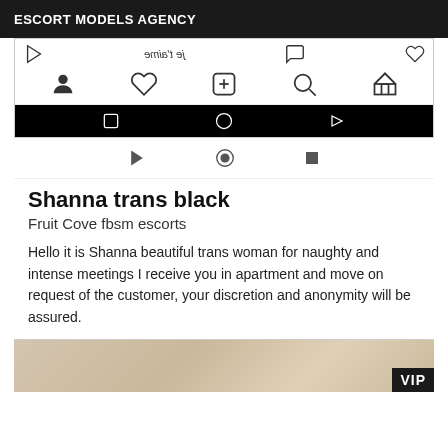ESCORT MODELS AGENCY
[Figure (screenshot): Screenshot of a mobile phone showing an Instagram-like interface with navigation icons (profile, heart, plus, search, home) and Android navigation bar (square, circle, triangle). Below is a media player control bar with play, record, and stop buttons.]
Shanna trans black
Fruit Cove fbsm escorts
Hello it is Shanna beautiful trans woman for naughty and intense meetings I receive you in apartment and move on request of the customer, your discretion and anonymity will be assured.
[Figure (photo): Partial photo preview at the bottom of the page with a VIP badge in the lower right corner.]